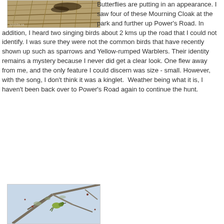[Figure (photo): A bird (or animal) camouflaged among dry grass and straw, with a watermark text visible at bottom left.]
Butterflies are putting in an appearance. I saw four of these Mourning Cloak at the park and further up Power's Road. In addition, I heard two singing birds about 2 kms up the road that I could not identify. I was sure they were not the common birds that have recently shown up such as sparrows and Yellow-rumped Warblers. Their identity remains a mystery because I never did get a clear look. One flew away from me, and the only feature I could discern was size - small. However, with the song, I don't think it was a kinglet.  Weather being what it is, I haven't been back over to Power's Road again to continue the hunt.
[Figure (photo): A bird perched on a branch with lichen and bare twigs, pale blue sky background, appears to be a small songbird possibly a warbler.]